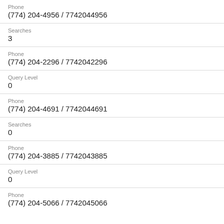Phone
(774) 204-4956 / 7742044956
Searches
3
Phone
(774) 204-2296 / 7742042296
Query Level
0
Phone
(774) 204-4691 / 7742044691
Searches
0
Phone
(774) 204-3885 / 7742043885
Query Level
0
Phone
(774) 204-5066 / 7742045066